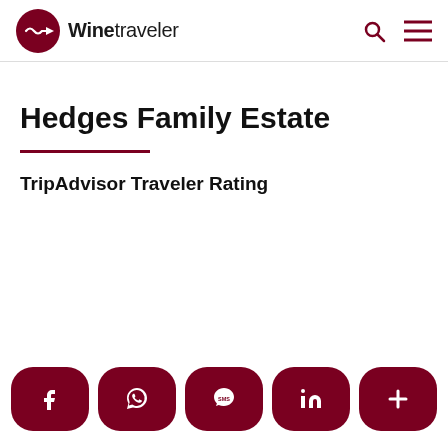Winetraveler
Hedges Family Estate
TripAdvisor Traveler Rating
Social share buttons: Facebook, WhatsApp, SMS, LinkedIn, More